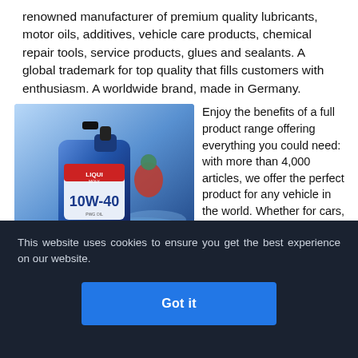renowned manufacturer of premium quality lubricants, motor oils, additives, vehicle care products, chemical repair tools, service products, glues and sealants. A global trademark for top quality that fills customers with enthusiasm. A worldwide brand, made in Germany.
[Figure (photo): LIQUI MOLY 10W-40 motor oil blue 4L container product shot alongside a water sport athlete on a jet ski background]
Enjoy the benefits of a full product range offering everything you could need: with more than 4,000 articles, we offer the perfect product for any vehicle in the world. Whether for cars, bikes, commercial vehicles, construction equipment, boats or garden appliances
This website uses cookies to ensure you get the best experience on our website.